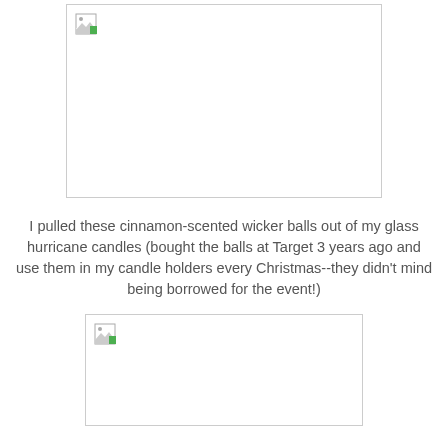[Figure (photo): Broken/unloaded image placeholder (top) - photo of cinnamon-scented wicker balls in glass hurricane candles]
I pulled these cinnamon-scented wicker balls out of my glass hurricane candles (bought the balls at Target 3 years ago and use them in my candle holders every Christmas--they didn't mind being borrowed for the event!)
[Figure (photo): Broken/unloaded image placeholder (bottom) - another photo related to the wicker balls or candle holders]